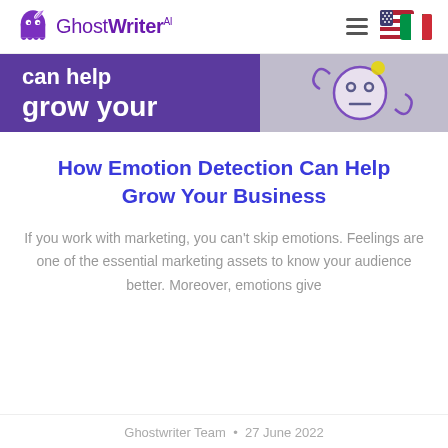GhostWriter AI
[Figure (illustration): Banner image with purple background showing text 'can help grow your' and an illustration of an emoji face with purple swirls on a grey background]
How Emotion Detection Can Help Grow Your Business
If you work with marketing, you can't skip emotions. Feelings are one of the essential marketing assets to know your audience better. Moreover, emotions give
Ghostwriter Team • 27 June 2022